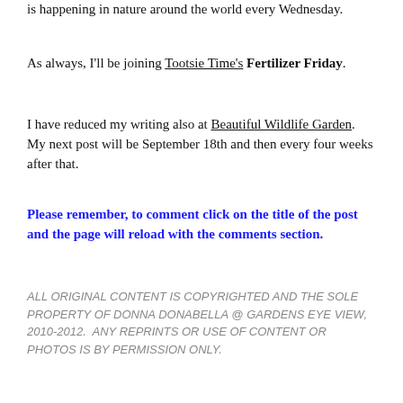is happening in nature around the world every Wednesday.
As always, I'll be joining Tootsie Time's Fertilizer Friday.
I have reduced my writing also at Beautiful Wildlife Garden.  My next post will be September 18th and then every four weeks after that.
Please remember, to comment click on the title of the post and the page will reload with the comments section.
ALL ORIGINAL CONTENT IS COPYRIGHTED AND THE SOLE PROPERTY OF DONNA DONABELLA @ GARDENS EYE VIEW, 2010-2012.  ANY REPRINTS OR USE OF CONTENT OR PHOTOS IS BY PERMISSION ONLY.